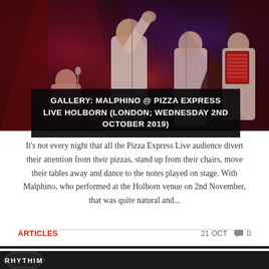[Figure (photo): Concert photo showing band members performing on stage under red and blue lighting, with musicians playing instruments including an accordion and double bass]
GALLERY: MALPHINO @ PIZZA EXPRESS LIVE HOLBORN (LONDON; WEDNESDAY 2ND OCTOBER 2019)
It's not every night that all the Pizza Express Live audience divert their attention from their pizzas, stand up from their chairs, move their tables away and dance to the notes played on stage. With Malphino, who performed at the Holborn venue on 2nd November, that was quite natural and...
ARTICLES
21 OCT  0
[Figure (photo): Bottom strip showing partial logo/banner at bottom of page]